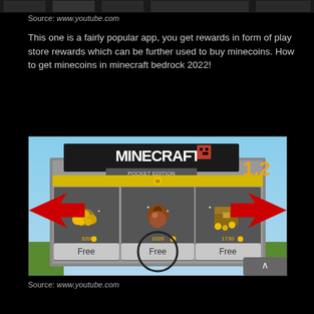[Figure (screenshot): Top strip showing partial YouTube video thumbnails on black background]
Source: www.youtube.com
This one is a fairly popular app, you get rewards in form of play store rewards which can be further used to buy minecoins. How to get minecoins in minecraft bedrock 2022!
[Figure (screenshot): Minecraft Pocket Edition 1.2 screenshot showing three free minecoin packages (320, 1020, 1730 coins) all labeled Free, with red arrows pointing to them and a circle around the middle one]
Source: www.youtube.com